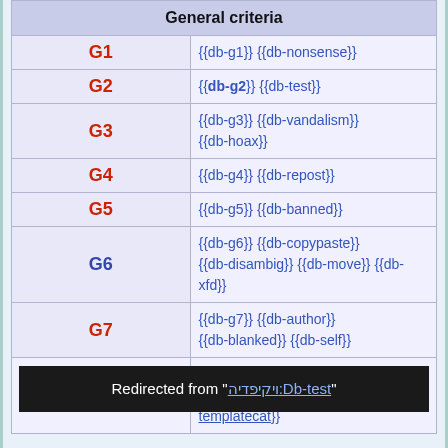| General criteria |  |
| --- | --- |
| G1 | {{db-g1}} {{db-nonsense}} |
| G2 | {{db-g2}} {{db-test}} |
| G3 | {{db-g3}} {{db-vandalism}} {{db-hoax}} |
| G4 | {{db-g4}} {{db-repost}} |
| G5 | {{db-g5}} {{db-banned}} |
| G6 | {{db-g6}} {{db-copypaste}} {{db-disambig}} {{db-move}} {{db-xfd}} |
| G7 | {{db-g7}} {{db-author}} {{db-blanked}} {{db-self}} |
| G8 | {{db-g8}} {{db-imagepage}} {{db-...templatecat}} |
Redirected from "ויקיפדיה:Db-test"